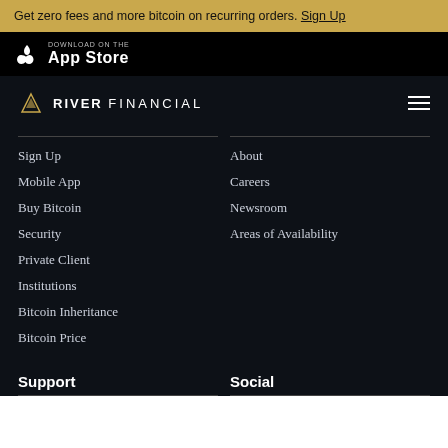Get zero fees and more bitcoin on recurring orders. Sign Up
[Figure (screenshot): App Store download button strip showing Apple logo and 'Download on the App Store' text]
RIVER FINANCIAL
Sign Up
Mobile App
Buy Bitcoin
Security
Private Client
Institutions
Bitcoin Inheritance
Bitcoin Price
About
Careers
Newsroom
Areas of Availability
Support
Social